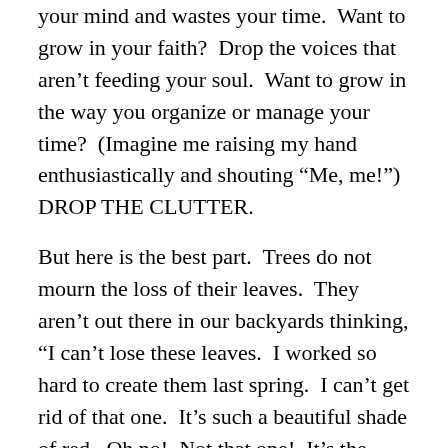your mind and wastes your time.  Want to grow in your faith?  Drop the voices that aren't feeding your soul.  Want to grow in the way you organize or manage your time?  (Imagine me raising my hand enthusiastically and shouting “Me, me!”) DROP THE CLUTTER.
But here is the best part.  Trees do not mourn the loss of their leaves.  They aren’t out there in our backyards thinking, “I can’t lose these leaves.  I worked so hard to create them last spring.  I can’t get rid of that one.  It’s such a beautiful shade of red.  Oh no!  Not that one!  It’s the biggest leaf I’ve ever seen.  No, I’m keeping that one.  I don’t want to waste it!”  That doesn’t happen.  The leaves simply do not serve the tree any longer.  They must go.  Why do we analyze each item and place